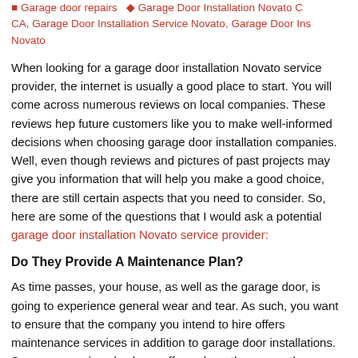Garage door repairs · Garage Door Installation Novato CA, Garage Door Installation Service Novato, Garage Door Ins Novato
When looking for a garage door installation Novato service provider, the internet is usually a good place to start. You will come across numerous reviews on local companies. These reviews hep future customers like you to make well-informed decisions when choosing garage door installation companies. Well, even though reviews and pictures of past projects may give you information that will help you make a good choice, there are still certain aspects that you need to consider. So, here are some of the questions that I would ask a potential garage door installation Novato service provider:
Do They Provide A Maintenance Plan?
As time passes, your house, as well as the garage door, is going to experience general wear and tear. As such, you want to ensure that the company you intend to hire offers maintenance services in addition to garage door installations. Some companies also have offers where they cover the maintenance, even if they won't perform it. If they plan to cover it, then look into the details. Insurance is an ideal type of cover as it ensures you are compensated in case of any